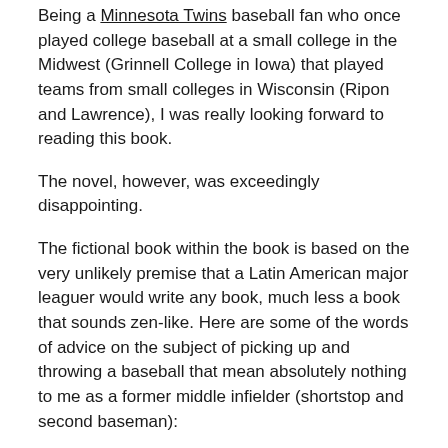Being a Minnesota Twins baseball fan who once played college baseball at a small college in the Midwest (Grinnell College in Iowa) that played teams from small colleges in Wisconsin (Ripon and Lawrence), I was really looking forward to reading this book.
The novel, however, was exceedingly disappointing.
The fictional book within the book is based on the very unlikely premise that a Latin American major leaguer would write any book, much less a book that sounds zen-like. Here are some of the words of advice on the subject of picking up and throwing a baseball that mean absolutely nothing to me as a former middle infielder (shortstop and second baseman):
“The shortstop is a source of stillness at the center of the defense. He projects this stillness and his teammates respond.”